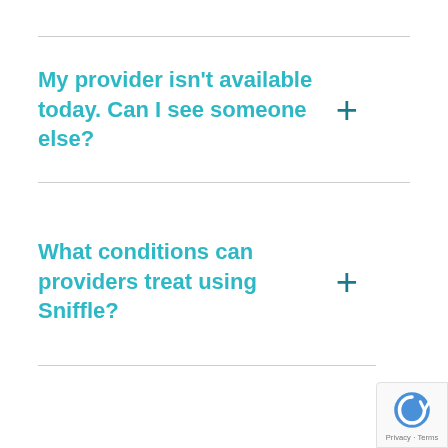My provider isn't available today. Can I see someone else?
What conditions can providers treat using Sniffle?